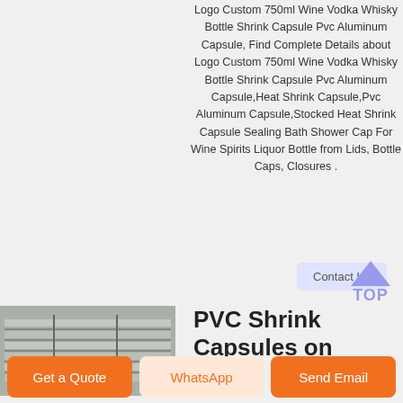Logo Custom 750ml Wine Vodka Whisky Bottle Shrink Capsule Pvc Aluminum Capsule, Find Complete Details about Logo Custom 750ml Wine Vodka Whisky Bottle Shrink Capsule Pvc Aluminum Capsule,Heat Shrink Capsule,Pvc Aluminum Capsule,Stocked Heat Shrink Capsule Sealing Bath Shower Cap For Wine Spirits Liquor Bottle from Lids, Bottle Caps, Closures .
[Figure (photo): Photo of stacked aluminum/metal sheets or panels, grey colored, industrial product shot]
PVC Shrink Capsules on
Contact Us
Get a Quote
WhatsApp
Send Email